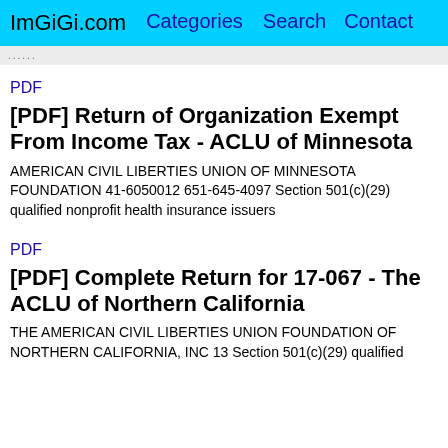ImGiGi.com | Categories | Search | Contact
......
PDF
[PDF] Return of Organization Exempt From Income Tax - ACLU of Minnesota
AMERICAN CIVIL LIBERTIES UNION OF MINNESOTA FOUNDATION 41-6050012 651-645-4097 Section 501(c)(29) qualified nonprofit health insurance issuers
PDF
[PDF] Complete Return for 17-067 - The ACLU of Northern California
THE AMERICAN CIVIL LIBERTIES UNION FOUNDATION OF NORTHERN CALIFORNIA, INC 13 Section 501(c)(29) qualified